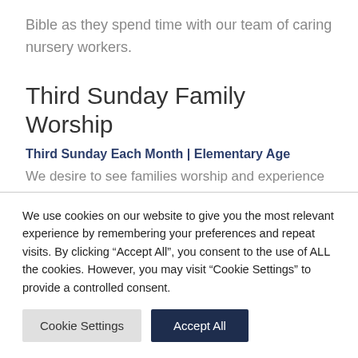Bible as they spend time with our team of caring nursery workers.
Third Sunday Family Worship
Third Sunday Each Month | Elementary Age
We desire to see families worship and experience the power of the Holy Spirit together. On the third
We use cookies on our website to give you the most relevant experience by remembering your preferences and repeat visits. By clicking “Accept All”, you consent to the use of ALL the cookies. However, you may visit “Cookie Settings” to provide a controlled consent.
Cookie Settings | Accept All